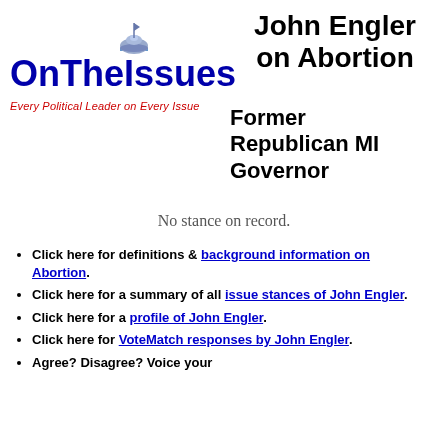[Figure (logo): OnTheIssues logo with capitol dome graphic and text 'OnTheIssues' in blue, tagline 'Every Political Leader on Every Issue' in red italic]
John Engler on Abortion
Former Republican MI Governor
No stance on record.
Click here for definitions & background information on Abortion.
Click here for a summary of all issue stances of John Engler.
Click here for a profile of John Engler.
Click here for VoteMatch responses by John Engler.
Agree? Disagree? Voice your opinion on abortion in The Forum.